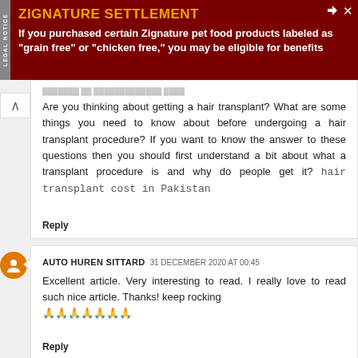[Figure (other): Ad banner: ZIGNATURE SETTLEMENT - dark red background with orange title and white body text about pet food settlement]
Are you thinking about getting a hair transplant? What are some things you need to know about before undergoing a hair transplant procedure? If you want to know the answer to these questions then you should first understand a bit about what a transplant procedure is and why do people get it? hair transplant cost in Pakistan
Reply
AUTO HUREN SITTARD  31 DECEMBER 2020 AT 00:45
Excellent article. Very interesting to read. I really love to read such nice article. Thanks! keep rocking 🙏🙏🙏🙏🙏🙏🙏
Reply
AUTO HUREN SITTARD  31 DECEMBER 2020 AT 01:38